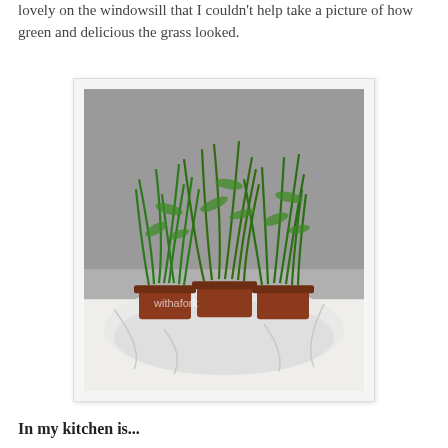lovely on the windowsill that I couldn't help take a picture of how green and delicious the grass looked.
[Figure (photo): Three small potted plants with tall, lush green grass-like leaves sitting in terracotta pots on a white plastic bag on a table. A watermark reading 'withafork' is visible in the lower left of the image.]
In my kitchen is...